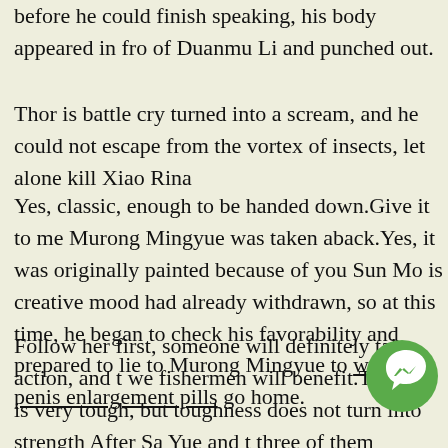before he could finish speaking, his body appeared in front of Duanmu Li and punched out.
Thor is battle cry turned into a scream, and he could not escape from the vortex of insects, let alone kill Xiao Rina
Yes, classic, enough to be handed down.Give it to me Murong Mingyue was taken aback.Yes, it was originally painted because of you Sun Mo is creative mood had already withdrawn, so at this time, he began to check his favorability and prepared to lie to Murong Mingyue to wa buy penis enlargement pills go home.
Follow her first, someone will definitely take action, and t we fishermen will benefit.This girl is very tough, but toughness does not turn into strength After Sa Yue and t three of them discussed it, they hanged far be nd t they found that there were people who coinc h e other.
[Figure (other): Green circular messenger/chat icon button overlaid on the text content in the bottom right area]